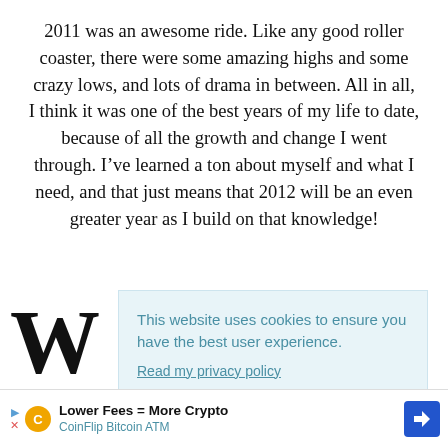2011 was an awesome ride. Like any good roller coaster, there were some amazing highs and some crazy lows, and lots of drama in between. All in all, I think it was one of the best years of my life to date, because of all the growth and change I went through. I've learned a ton about myself and what I need, and that just means that 2012 will be an even greater year as I build on that knowledge!
W
This website uses cookies to ensure you have the best user experience.
Read my privacy policy
Okay, I understand!
[Figure (screenshot): CoinFlip Bitcoin ATM advertisement bar at the bottom of the page with play icon, X icon, coin logo, text 'Lower Fees = More Crypto / CoinFlip Bitcoin ATM', and a blue diamond navigation arrow icon]